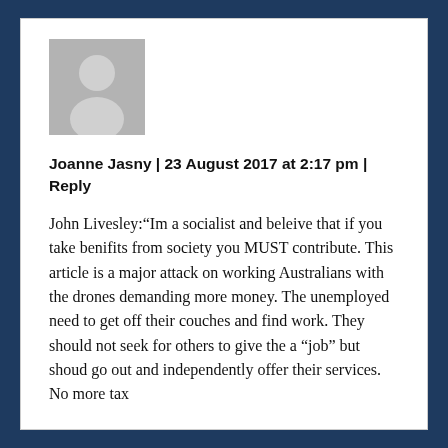[Figure (photo): Generic grey user avatar placeholder image showing a silhouette of a person]
Joanne Jasny | 23 August 2017 at 2:17 pm | Reply
John Livesley:“Im a socialist and beleive that if you take benifits from society you MUST contribute. This article is a major attack on working Australians with the drones demanding more money. The unemployed need to get off their couches and find work. They should not seek for others to give the a “job” but shoud go out and independently offer their services. No more tax